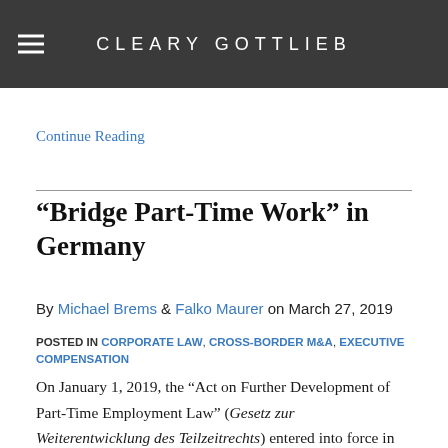CLEARY GOTTLIEB
obliged to provide their employees with an employer-paid top-up to the employees' contributions to the deferred compensation. …
Continue Reading
“Bridge Part-Time Work” in Germany
By Michael Brems & Falko Maurer on March 27, 2019
POSTED IN CORPORATE LAW, CROSS-BORDER M&A, EXECUTIVE COMPENSATION
On January 1, 2019, the “Act on Further Development of Part-Time Employment Law” (Gesetz zur Weiterentwicklung des Teilzeitrechts) entered into force in Germany.